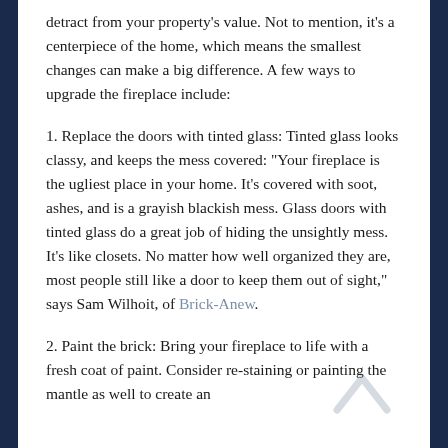detract from your property's value. Not to mention, it's a centerpiece of the home, which means the smallest changes can make a big difference. A few ways to upgrade the fireplace include:
1. Replace the doors with tinted glass: Tinted glass looks classy, and keeps the mess covered: "Your fireplace is the ugliest place in your home. It's covered with soot, ashes, and is a grayish blackish mess. Glass doors with tinted glass do a great job of hiding the unsightly mess. It's like closets. No matter how well organized they are, most people still like a door to keep them out of sight," says Sam Wilhoit, of Brick-Anew.
2. Paint the brick: Bring your fireplace to life with a fresh coat of paint. Consider re-staining or painting the mantle as well to create an